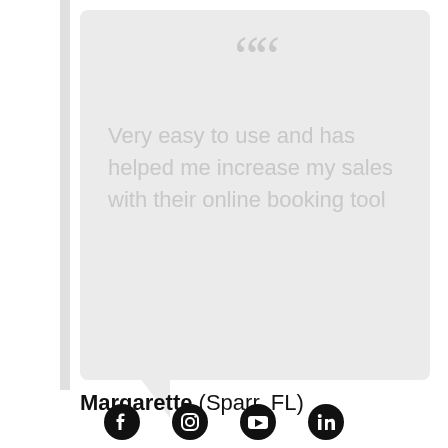[Figure (other): Speech bubble with large quotation mark icon and testimonial text on light grey background with a speech bubble tail pointing down-left]
Very easy to use and has helped me increase my sales with their online booking tool
Margarette (Sparr, FL)
[Figure (other): Row of four social media icons: Facebook, Instagram, YouTube, LinkedIn]